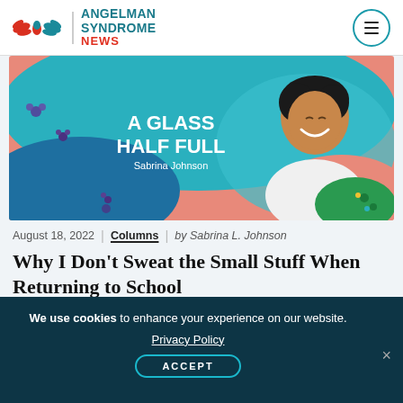[Figure (logo): Angelman Syndrome News logo with stylized wings and site name]
[Figure (illustration): A Glass Half Full column banner by Sabrina Johnson — colorful illustrated image with text overlay 'A GLASS HALF FULL' and 'Sabrina Johnson']
August 18, 2022 | Columns | by Sabrina L. Johnson
Why I Don't Sweat the Small Stuff When Returning to School
We use cookies to enhance your experience on our website. Privacy Policy ACCEPT